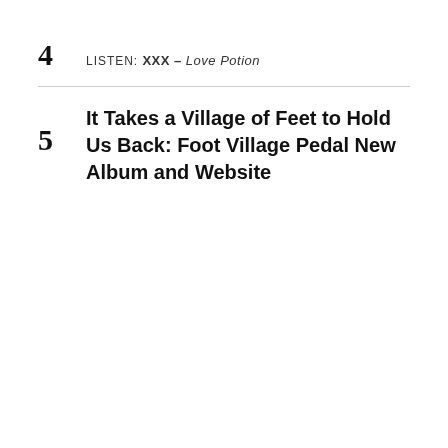4 LISTEN: XXX – Love Potion
5 It Takes a Village of Feet to Hold Us Back: Foot Village Pedal New Album and Website